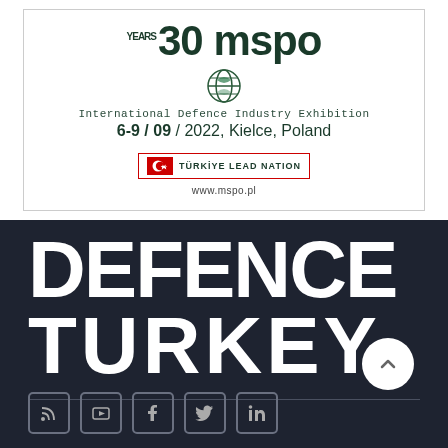[Figure (logo): 30 Years MSPO International Defence Industry Exhibition logo with globe icon, date 6-9/09/2022 Kielce Poland, Türkiye Lead Nation badge, and www.mspo.pl URL]
[Figure (logo): Defence Turkey magazine logo in large bold white text on dark navy background with social media icons at bottom (RSS, YouTube, Facebook, Twitter, LinkedIn)]